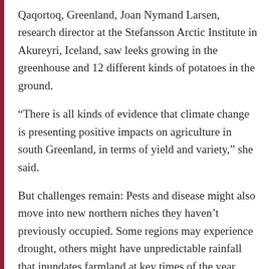Qaqortoq, Greenland, Joan Nymand Larsen, research director at the Stefansson Arctic Institute in Akureyri, Iceland, saw leeks growing in the greenhouse and 12 different kinds of potatoes in the ground.
“There is all kinds of evidence that climate change is presenting positive impacts on agriculture in south Greenland, in terms of yield and variety,” she said.
But challenges remain: Pests and disease might also move into new northern niches they haven’t previously occupied. Some regions may experience drought, others might have unpredictable rainfall that inundates farmland at key times of the year.